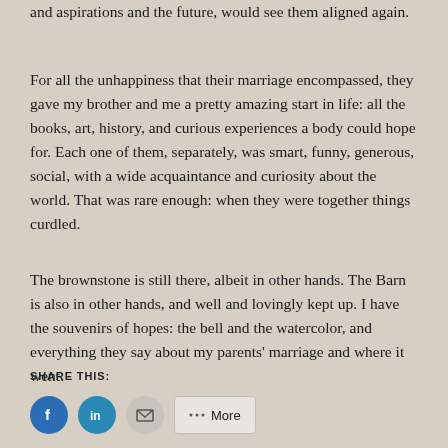and aspirations and the future, would see them aligned again.
For all the unhappiness that their marriage encompassed, they gave my brother and me a pretty amazing start in life: all the books, art, history, and curious experiences a body could hope for. Each one of them, separately, was smart, funny, generous, social, with a wide acquaintance and curiosity about the world. That was rare enough: when they were together things curdled.
The brownstone is still there, albeit in other hands. The Barn is also in other hands, and well and lovingly kept up. I have the souvenirs of hopes: the bell and the watercolor, and everything they say about my parents' marriage and where it went.
SHARE THIS:
[Figure (other): Social share buttons: Facebook, LinkedIn, Email, and More]